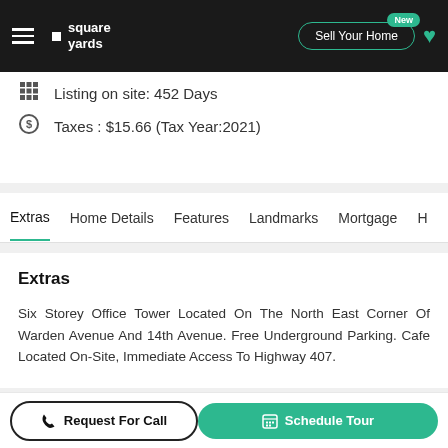Square Yards — Sell Your Home (New)
Listing on site: 452 Days
Taxes : $15.66 (Tax Year:2021)
Extras    Home Details    Features    Landmarks    Mortgage    H…
Extras
Six Storey Office Tower Located On The North East Corner Of Warden Avenue And 14th Avenue. Free Underground Parking. Cafe Located On-Site, Immediate Access To Highway 407.
3760 14th Ave, York - Home Detail
Request For Call | Schedule Tour